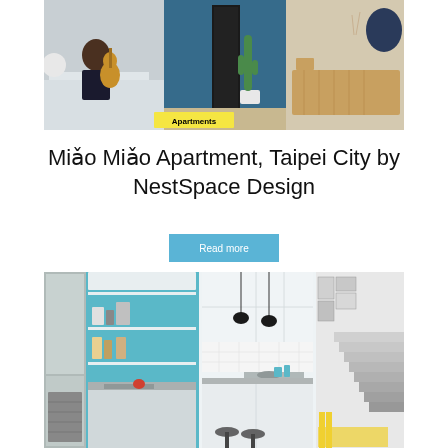[Figure (photo): Interior apartment photo collage: left panel shows a woman playing guitar on a window seat, center panel shows a teal/blue wall with a cactus plant, right panel shows a wooden sideboard with decorative items. Yellow 'Apartments' badge overlaid at bottom center.]
Miǎo Miǎo Apartment, Taipei City by NestSpace Design
Read more
[Figure (photo): Interior apartment photo collage: left panel shows a kitchen with teal accent shelving and refrigerator, center panel shows white kitchen cabinets with black pendant lights and bar stools, right panel shows a staircase with gallery wall of framed photos and yellow accent furniture.]